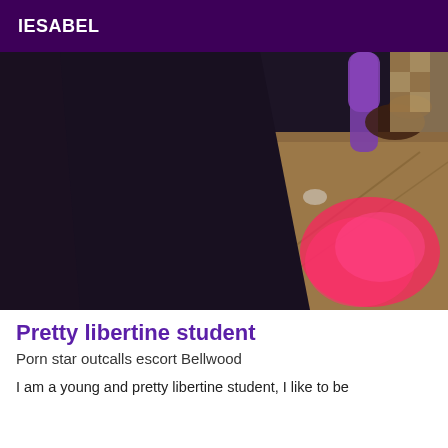IESABEL
[Figure (photo): A dark photo showing a person's lower body area on a wooden floor background, with a pink/hot-pink glow. A purple object is partially visible at the top right. The image is dark on the left side.]
Pretty libertine student
Porn star outcalls escort Bellwood
I am a young and pretty libertine student, I like to be